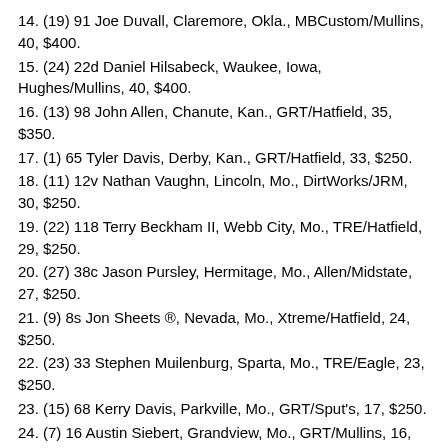14. (19) 91 Joe Duvall, Claremore, Okla., MBCustom/Mullins, 40, $400.
15. (24) 22d Daniel Hilsabeck, Waukee, Iowa, Hughes/Mullins, 40, $400.
16. (13) 98 John Allen, Chanute, Kan., GRT/Hatfield, 35, $350.
17. (1) 65 Tyler Davis, Derby, Kan., GRT/Hatfield, 33, $250.
18. (11) 12v Nathan Vaughn, Lincoln, Mo., DirtWorks/JRM, 30, $250.
19. (22) 118 Terry Beckham II, Webb City, Mo., TRE/Hatfield, 29, $250.
20. (27) 38c Jason Pursley, Hermitage, Mo., Allen/Midstate, 27, $250.
21. (9) 8s Jon Sheets ®, Nevada, Mo., Xtreme/Hatfield, 24, $250.
22. (23) 33 Stephen Muilenburg, Sparta, Mo., TRE/Eagle, 23, $250.
23. (15) 68 Kerry Davis, Parkville, Mo., GRT/Sput's, 17, $250.
24. (7) 16 Austin Siebert, Grandview, Mo., GRT/Mullins, 16, $250.
25. (17) 87 Darron Fuqua ®, Mayetta, Kan., Venom/Driskell, 14, $250.
26. (12) 1st Johnny Scott, Las Cruces, N.M., Ramirez/Cornett, 9, $400.
27. (10) 98 Jeff Cutshaw, Bolivar, Mo., GRT/SCR, 7, $250.